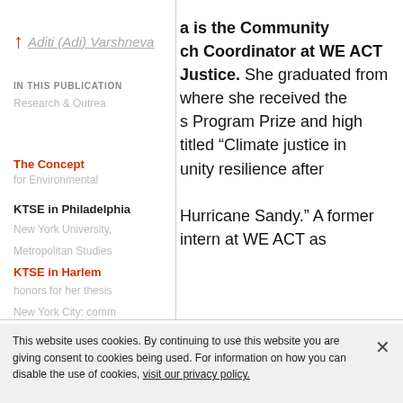Aditi (Adi) Varshneya is the Community Research & Outreach Coordinator at WE ACT for Environmental Justice. She graduated from New York University, where she received the Metropolitan Studies Program Prize and high honors for her thesis titled “Climate justice in New York City: community resilience after Hurricane Sandy.” A former intern at WE ACT as
IN THIS PUBLICATION
The Concept
KTSE in Philadelphia
KTSE in Harlem
This website uses cookies. By continuing to use this website you are giving consent to cookies being used. For information on how you can disable the use of cookies, visit our privacy policy.